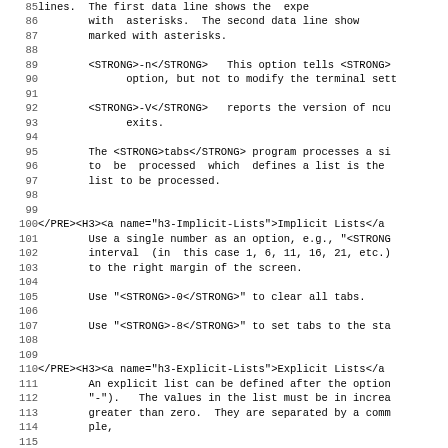Lines 85-117 of source code documentation showing command-line options and HTML anchor tags for Implicit Lists and Explicit Lists sections